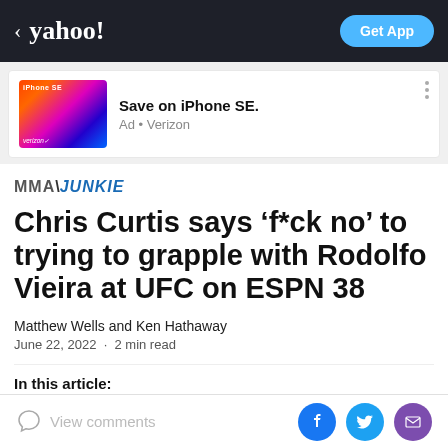< yahoo!  Get App
[Figure (other): Advertisement banner for iPhone SE by Verizon showing colorful iPhones with text 'Save on iPhone SE.' and 'Ad • Verizon']
[Figure (logo): MMA Junkie logo — MMA in gray bold, JUNKIE in blue bold italic]
Chris Curtis says ‘f*ck no’ to trying to grapple with Rodolfo Vieira at UFC on ESPN 38
Matthew Wells and Ken Hathaway
June 22, 2022  ·  2 min read
In this article:
View comments